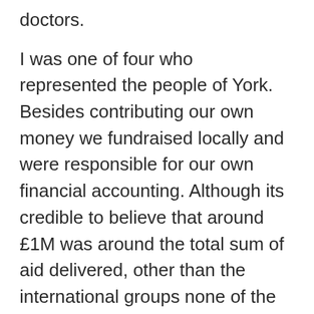doctors.

I was one of four who represented the people of York. Besides contributing our own money we fundraised locally and were responsible for our own financial accounting. Although its credible to believe that around £1M was around the total sum of aid delivered, other than the international groups none of the local UK groups would have individually met the threshold of the £25,000.00 that was the excuse to force charity status on us. Our first purchase was an ambulance for which we paid £6,000.00. Having acquired the ambulance money came in more readily and we were able to purchase medical supplies, a defibrillator, and a second hand dialysis machine. This we handed over